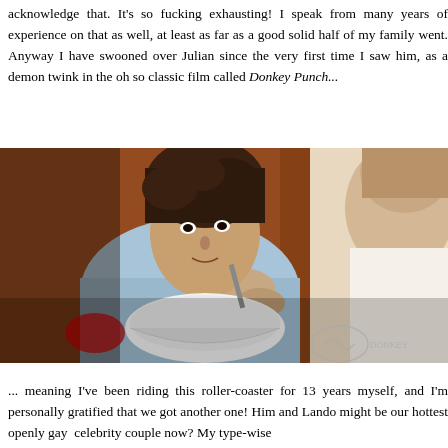acknowledge that. It's so fucking exhausting! I speak from many years of experience on that as well, at least as far as a good solid half of my family went. Anyway I have swooned over Julian since the very first time I saw him, as a demon twink in the oh so classic film called Donkey Punch...
[Figure (photo): A young man leaning over a bathroom sink, viewed from behind another person's shoulder. The scene appears to be from the film Donkey Punch. A watermark logo is visible in the bottom right corner.]
... meaning I've been riding this roller-coaster for 13 years myself, and I'm personally gratified that we got another one! Him and Lando might be our hottest openly gay  celebrity couple now? My type-wise